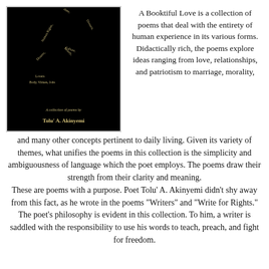[Figure (photo): Book cover of 'A Booktiful Love' by Tolu' A. Akinyemi. Black background with words arranged in the shape of 'LOVE' in gold/tan text, including words like Academics, Marriage, Human Rights, Hate, love, relationships, Beauty, Divorce, Culture, Dreams, Lovers. Below reads 'A collection of poems by Tolu' A. Akinyemi' in gold text.]
A Booktiful Love is a collection of poems that deal with the entirety of human experience in its various forms. Didactically rich, the poems explore ideas ranging from love, relationships, and patriotism to marriage, morality, and many other concepts pertinent to daily living. Given its variety of themes, what unifies the poems in this collection is the simplicity and ambiguousness of language which the poet employs. The poems draw their strength from their clarity and meaning. These are poems with a purpose. Poet Tolu' A. Akinyemi didn't shy away from this fact, as he wrote in the poems "Writers" and "Write for Rights." The poet's philosophy is evident in this collection. To him, a writer is saddled with the responsibility to use his words to teach, preach, and fight for freedom.